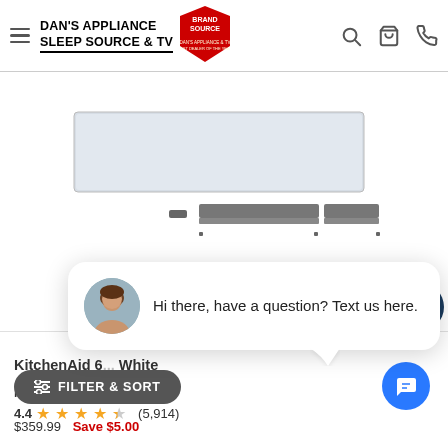DAN'S APPLIANCE SLEEP SOURCE & TV | Brand Source
[Figure (photo): KitchenAid product photo showing a white shelf/drawer front panel and metal hardware rail components on white background]
clo
[Figure (screenshot): Chat popup with female avatar photo and message: Hi there, have a question? Text us here.]
KitchenAid 6... White
Model #: W10655448
4.4 (5,914)
FILTER & SORT
$359.99  Save $5.00